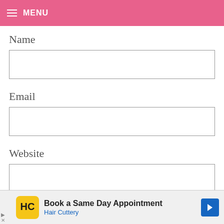MENU
Name
Email
Website
[Figure (screenshot): Checkbox UI element]
[Figure (screenshot): Advertisement banner: Book a Same Day Appointment - Hair Cuttery]